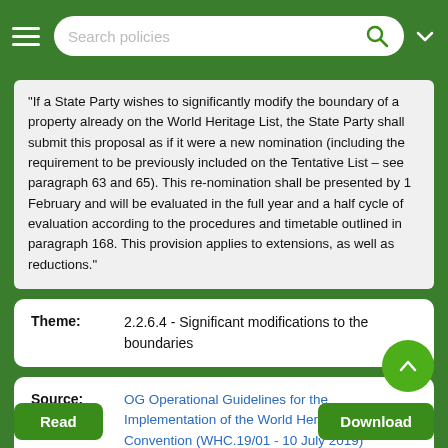Search policies
“If a State Party wishes to significantly modify the boundary of a property already on the World Heritage List, the State Party shall submit this proposal as if it were a new nomination (including the requirement to be previously included on the Tentative List – see paragraph 63 and 65). This re-nomination shall be presented by 1 February and will be evaluated in the full year and a half cycle of evaluation according to the procedures and timetable outlined in paragraph 168. This provision applies to extensions, as well as reductions.”
| Theme: | 2.2.6.4 - Significant modifications to the boundaries |
| --- | --- |
| Source: | OG Operational Guidelines for the Implementation of the World Heritage Convention (WHC.19/01 - 10 July 2019) |
| --- | --- |